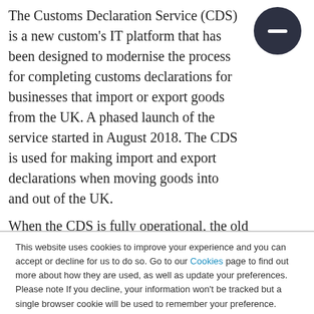The Customs Declaration Service (CDS) is a new custom's IT platform that has been designed to modernise the process for completing customs declarations for businesses that import or export goods from the UK. A phased launch of the service started in August 2018. The CDS is used for making import and export declarations when moving goods into and out of the UK.
When the CDS is fully operational, the old Customs Handling of Import and Export
This website uses cookies to improve your experience and you can accept or decline for us to do so. Go to our Cookies page to find out more about how they are used, as well as update your preferences. Please note If you decline, your information won't be tracked but a single browser cookie will be used to remember your preference.